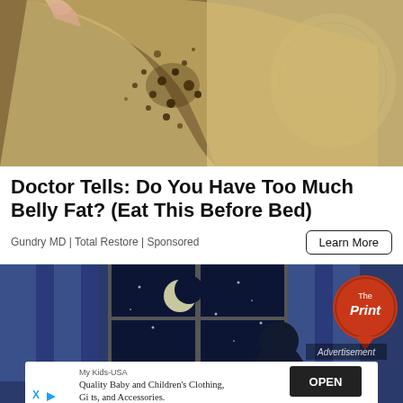[Figure (photo): Close-up photo of a transparent/yellowish sheet or film being peeled or lifted, covered with dark brown/golden speckles and granules, held over a colander or strainer, with a textured background]
Doctor Tells: Do You Have Too Much Belly Fat? (Eat This Before Bed)
Gundry MD | Total Restore | Sponsored
[Figure (illustration): Animated illustration of a man sitting by a window at night with a crescent moon and stars visible, with The Print circular orange badge/logo in the top right, and an advertisement overlay at the bottom showing My Kids-USA ad for Quality Baby and Children's Clothing, Gifts, and Accessories with an OPEN button]